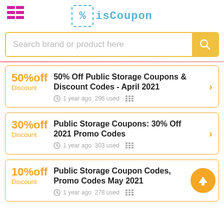isCoupon
Search brand or product here
50%off Discount | 50% Off Public Storage Coupons & Discount Codes - April 2021 | 1 year ago 296 used
30%off Discount | Public Storage Coupons: 30% Off 2021 Promo Codes | 1 year ago 303 used
10%off Discount | Public Storage Coupon Codes, Promo Codes May 2021 | 1 year ago 278 used